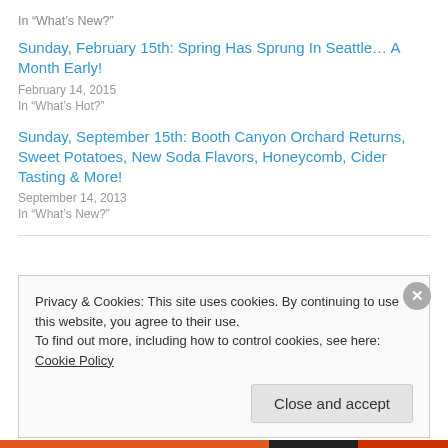In "What's New?"
Sunday, February 15th: Spring Has Sprung In Seattle… A Month Early!
February 14, 2015
In "What's Hot?"
Sunday, September 15th: Booth Canyon Orchard Returns, Sweet Potatoes, New Soda Flavors, Honeycomb, Cider Tasting & More!
September 14, 2013
In "What's New?"
Privacy & Cookies: This site uses cookies. By continuing to use this website, you agree to their use.
To find out more, including how to control cookies, see here: Cookie Policy
Close and accept